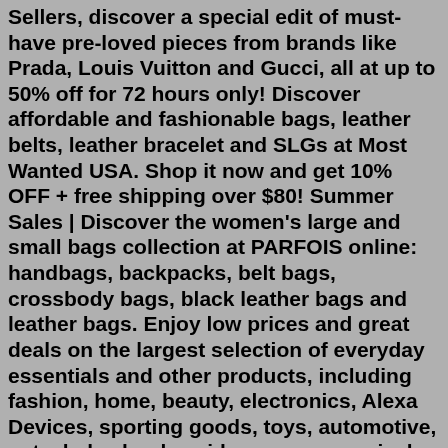Sellers, discover a special edit of must-have pre-loved pieces from brands like Prada, Louis Vuitton and Gucci, all at up to 50% off for 72 hours only! Discover affordable and fashionable bags, leather belts, leather bracelet and SLGs at Most Wanted USA. Shop it now and get 10% OFF + free shipping over $80! Summer Sales | Discover the women's large and small bags collection at PARFOIS online: handbags, backpacks, belt bags, crossbody bags, black leather bags and leather bags. Enjoy low prices and great deals on the largest selection of everyday essentials and other products, including fashion, home, beauty, electronics, Alexa Devices, sporting goods, toys, automotive, pets, baby, books, video games, musical instruments, office supplies, and more.Shop MOST WANTED USA men's bags with price comparison across 500+ stores in one place. Discover the latest MOST WANTED USA bags for men at ModeSens. New Arrival Alert. Favorite This Designer share Block This Designer.New Ameribag Metro Kyoto Shoulder Bag Taupe Brown Purse Nylon Teflon Protected. New.